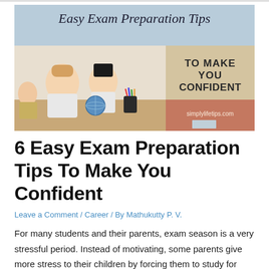[Figure (illustration): Banner image for 'Easy Exam Preparation Tips' article. Left portion shows a photo of children studying in a classroom with a globe and colored pencils. Right portion has a light blue header with 'Easy Exam Preparation Tips' in dark serif font, a tan/beige section with 'TO MAKE YOU CONFIDENT' in uppercase serif font, and a salmon/pink section with 'simplylifetips.com' in small text.]
6 Easy Exam Preparation Tips To Make You Confident
Leave a Comment / Career / By Mathukutty P. V.
For many students and their parents, exam season is a very stressful period. Instead of motivating, some parents give more stress to their children by forcing them to study for long hours.